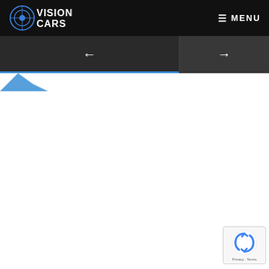VISION CARS — MENU
[Figure (screenshot): Navigation slider bar with left arrow and right arrow buttons, and a blue progress indicator below]
[Figure (other): White content area with small blue mountain/car silhouette shape in top-left corner]
[Figure (other): Google reCAPTCHA badge with privacy and terms links]